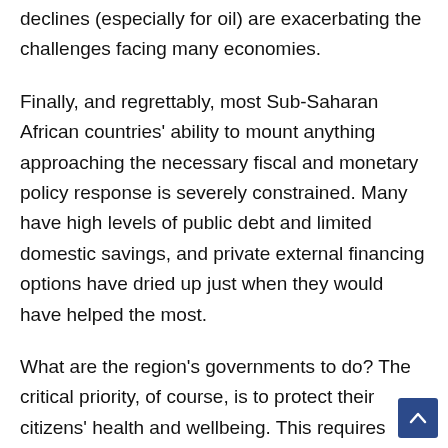declines (especially for oil) are exacerbating the challenges facing many economies.
Finally, and regrettably, most Sub-Saharan African countries' ability to mount anything approaching the necessary fiscal and monetary policy response is severely constrained. Many have high levels of public debt and limited domestic savings, and private external financing options have dried up just when they would have helped the most.
What are the region's governments to do? The critical priority, of course, is to protect their citizens' health and wellbeing. This requires boosting spending to improve the preparedness of health-care systems and providing targeted cash or in-kind transfers to the most vulnerable